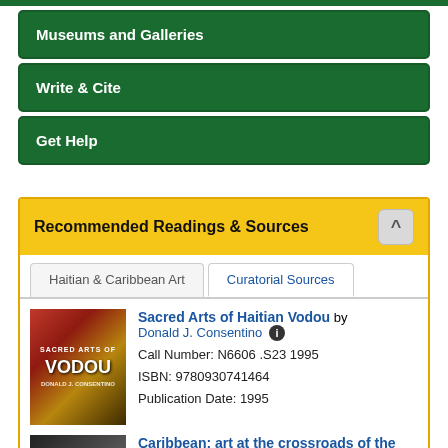Museums and Galleries
Write & Cite
Get Help
Recommended Readings & Sources
Haitian & Caribbean Art
Curatorial Sources
Sacred Arts of Haitian Vodou by Donald J. Consentino
Call Number: N6606 .S23 1995
ISBN: 9780930741464
Publication Date: 1995
Caribbean: art at the crossroads of the world by Deborah Cullen (Editor)